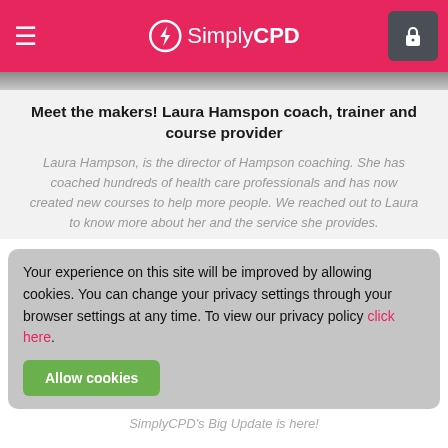SimplyCPD
[Figure (photo): Partial photo strip showing a blurred background image at the top of the article]
Meet the makers! Laura Hamspon coach, trainer and course provider
Laura Hampson, is the director of Hampson coaching. She has coached hundreds of health care professionals and has now created new courses to help more people. We reached out to Laura to know more about her and the service she provides.
Your experience on this site will be improved by allowing cookies. You can change your privacy settings through your browser settings at any time. To view our privacy policy click here.
Allow cookies
SimplyCPD's Big Update is here!